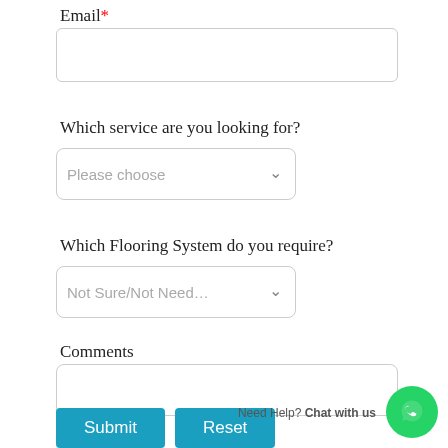Email*
[Figure (other): Text input field for email address]
Which service are you looking for?
[Figure (other): Dropdown select input with placeholder 'Please choose']
Which Flooring System do you require?
[Figure (other): Dropdown select input with placeholder 'Not Sure/Not Need...']
Comments
[Figure (other): Textarea input for comments]
[Figure (other): Submit and Reset buttons; WhatsApp chat help bubble in bottom right]
Need Help? Chat with us